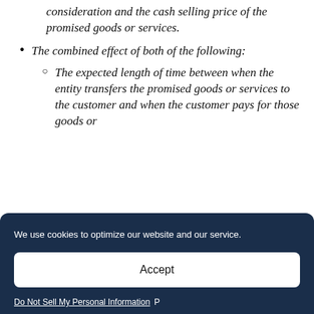consideration and the cash selling price of the promised goods or services.
The combined effect of both of the following:
The expected length of time between when the entity transfers the promised goods or services to the customer and when the customer pays for those goods or
We use cookies to optimize our website and our service.
Accept
Do Not Sell My Personal Information
NOT FINDING ×